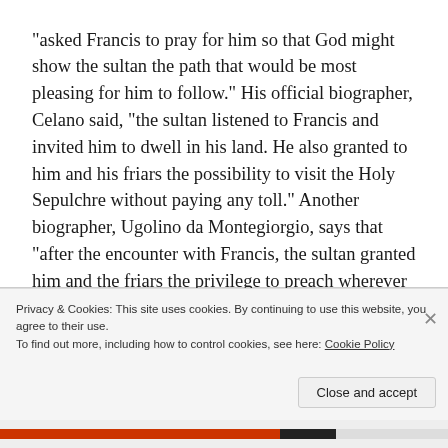“asked Francis to pray for him so that God might show the sultan the path that would be most pleasing for him to follow.” His official biographer, Celano said, “the sultan listened to Francis and invited him to dwell in his land. He also granted to him and his friars the possibility to visit the Holy Sepulchre without paying any toll.” Another biographer, Ugolino da Montegiorgio, says that “after the encounter with Francis, the sultan granted him and the friars the privilege to preach wherever they wanted and gave them a sign to guarantee their safety wherever they preached.”
Privacy & Cookies: This site uses cookies. By continuing to use this website, you agree to their use.
To find out more, including how to control cookies, see here: Cookie Policy
Close and accept